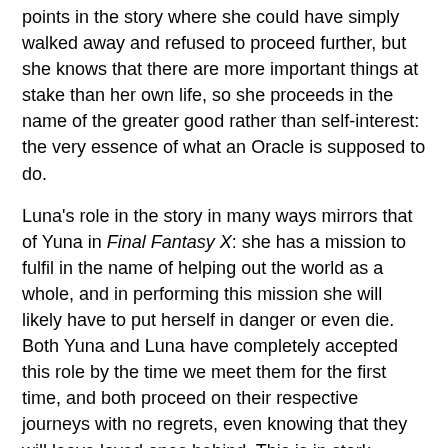points in the story where she could have simply walked away and refused to proceed further, but she knows that there are more important things at stake than her own life, so she proceeds in the name of the greater good rather than self-interest: the very essence of what an Oracle is supposed to do.
Luna’s role in the story in many ways mirrors that of Yuna in Final Fantasy X: she has a mission to fulfil in the name of helping out the world as a whole, and in performing this mission she will likely have to put herself in danger or even die. Both Yuna and Luna have completely accepted this role by the time we meet them for the first time, and both proceed on their respective journeys with no regrets, even knowing that they will leave loved ones behind. This is in stark contrast to Noctis, who on more than one occasion struggles with the burden that has been placed on him by higher powers; indeed, as the game’s finale shows, it takes him a very long time to get to a position where he is able to face what he has to do without fear or doubt.